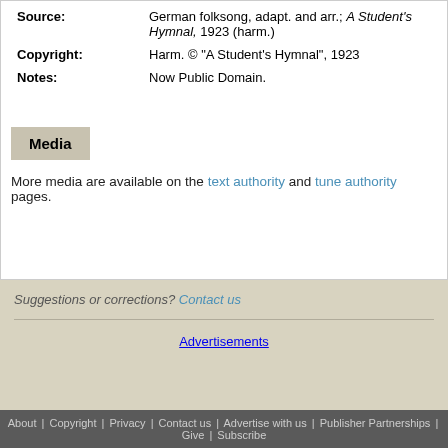| Source: | German folksong, adapt. and arr.; A Student's Hymnal, 1923 (harm.) |
| Copyright: | Harm. © "A Student's Hymnal", 1923 |
| Notes: | Now Public Domain. |
Media
More media are available on the text authority and tune authority pages.
Suggestions or corrections? Contact us
Advertisements
About | Copyright | Privacy | Contact us | Advertise with us | Publisher Partnerships | Give | Subscribe